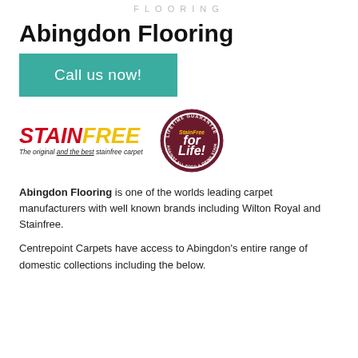FLOORING
Abingdon Flooring
Call us now!
[Figure (logo): Stainfree logo — red italic 'STAIN' and yellow italic 'FREE' with tagline 'The original and the best stainfree carpet', plus a circular 'StainFree for Life! Lifetime Guarantee against all food & drink stains' badge]
Abingdon Flooring is one of the worlds leading carpet manufacturers with well known brands including Wilton Royal and Stainfree.
Centrepoint Carpets have access to Abingdon's entire range of domestic collections including the below.